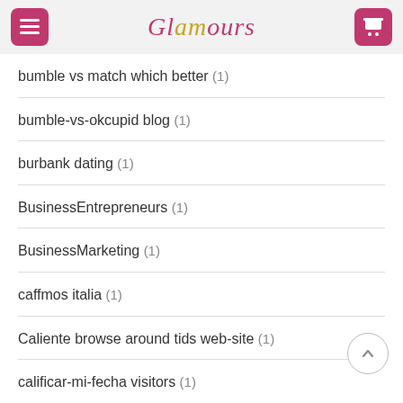Glamours
bumble vs match which better (1)
bumble-vs-okcupid blog (1)
burbank dating (1)
BusinessEntrepreneurs (1)
BusinessMarketing (1)
caffmos italia (1)
Caliente browse around tids web-site (1)
calificar-mi-fecha visitors (1)
California payday loans online no credit check instant approval (1)